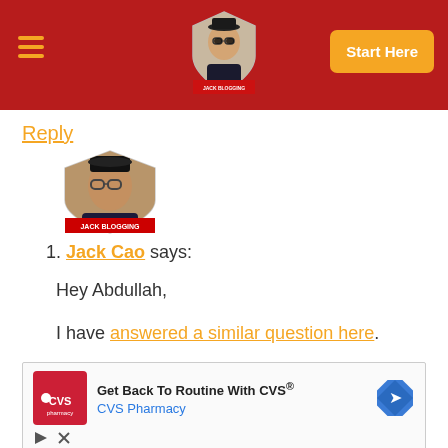Site header with hamburger menu, logo, and Start Here button
Reply
[Figure (illustration): User avatar in shield shape with photo of a man wearing glasses and a red banner below]
1. Jack Cao says:
Hey Abdullah,

I have answered a similar question here.

Hope this helps!
[Figure (other): CVS Pharmacy advertisement: Get Back To Routine With CVS® — CVS Pharmacy]